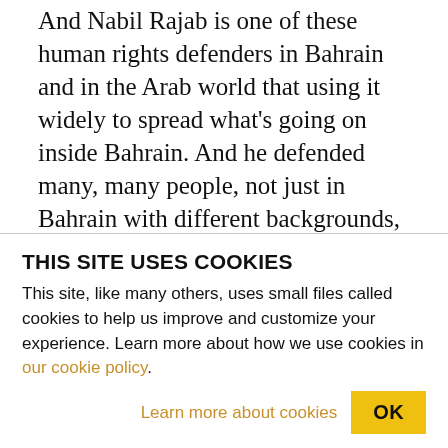And Nabil Rajab is one of these human rights defenders in Bahrain and in the Arab world that using it widely to spread what's going on inside Bahrain. And he defended many, many people, not just in Bahrain with different backgrounds, not necessarily Bahrainis, but even Arabs, non-Arabs, Muslims, non-Muslims. So he is well known internationally, worldwide. He's not just a human rights activist for Bahrain or for the Gulf region.
JAY: What I'm asking is: is there any indication that
THIS SITE USES COOKIES
This site, like many others, uses small files called cookies to help us improve and customize your experience. Learn more about how we use cookies in our cookie policy.
Learn more about cookies   OK